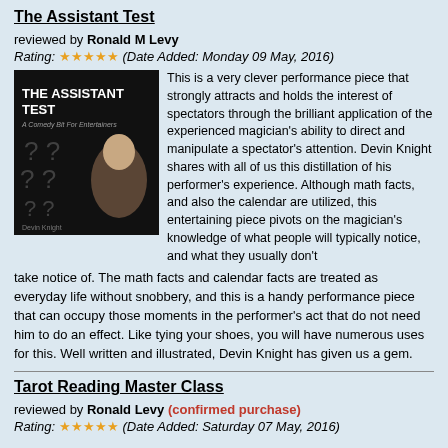The Assistant Test
reviewed by Ronald M Levy
Rating: ★★★★★ (Date Added: Monday 09 May, 2016)
[Figure (illustration): Book cover for 'The Assistant Test – A Comedy Bit For Entertainers' by Devin Knight. Black background with question marks and a woman looking up thoughtfully.]
This is a very clever performance piece that strongly attracts and holds the interest of spectators through the brilliant application of the experienced magician's ability to direct and manipulate a spectator's attention. Devin Knight shares with all of us this distillation of his performer's experience. Although math facts, and also the calendar are utilized, this entertaining piece pivots on the magician's knowledge of what people will typically notice, and what they usually don't take notice of. The math facts and calendar facts are treated as everyday life without snobbery, and this is a handy performance piece that can occupy those moments in the performer's act that do not need him to do an effect. Like tying your shoes, you will have numerous uses for this. Well written and illustrated, Devin Knight has given us a gem.
Tarot Reading Master Class
reviewed by Ronald Levy (confirmed purchase)
Rating: ★★★★★ (Date Added: Saturday 07 May, 2016)